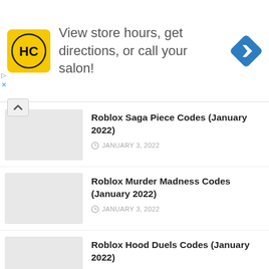[Figure (infographic): Advertisement banner: HC logo (yellow background with black HC letters), text 'View store hours, get directions, or call your salon!', blue navigation diamond icon on right. Small play and X icons bottom left.]
Roblox Saga Piece Codes (January 2022)
JANUARY 3, 2022
Roblox Murder Madness Codes (January 2022)
JANUARY 3, 2022
Roblox Hood Duels Codes (January 2022)
JANUARY 3, 2022
Roblox Zombie Tycoon Codes (January 2022)
JANUARY 3, 2022